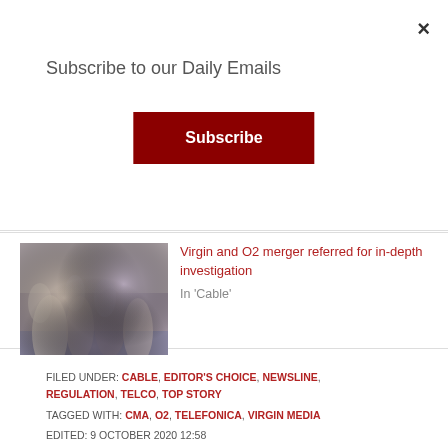Subscribe to our Daily Emails
Subscribe
[Figure (photo): Crowd of people, blurred, outdoors]
Virgin and O2 merger referred for in-depth investigation
In 'Cable'
FILED UNDER: CABLE, EDITOR'S CHOICE, NEWSLINE, REGULATION, TELCO, TOP STORY
TAGGED WITH: CMA, O2, TELEFONICA, VIRGIN MEDIA
EDITED: 9 OCTOBER 2020 12:58